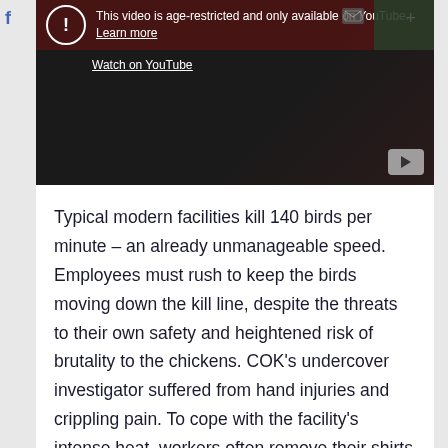[Figure (screenshot): A YouTube video embed showing an age-restricted warning message. Dark background with a warning circle icon and text: 'This video is age-restricted and only available on YouTube. Learn more' and 'Watch on YouTube'. A YouTube play button is visible in the bottom right corner.]
Typical modern facilities kill 140 birds per minute – an already unmanageable speed. Employees must rush to keep the birds moving down the kill line, despite the threats to their own safety and heightened risk of brutality to the chickens. COK's undercover investigator suffered from hand injuries and crippling pain. To cope with the facility's intense heat, workers often remove their shirts while operating heavy equipment